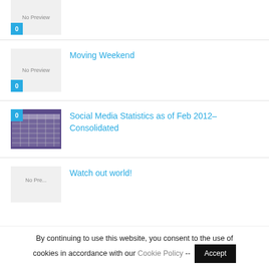No Preview / 0 (partial item top)
Moving Weekend
Social Media Statistics as of Feb 2012–Consolidated
Watch out world!
By continuing to use this website, you consent to the use of cookies in accordance with our Cookie Policy -- Accept